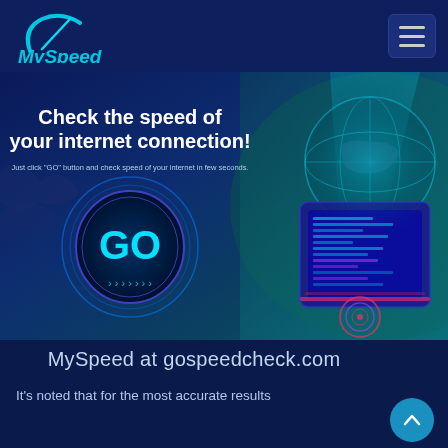[Figure (logo): MySpeed logo with speedometer icon in cyan/teal on dark blue background]
[Figure (screenshot): Hero banner with text 'Check the speed of your internet connection!', subtitle, cyan GO button in oval, and futuristic globe/device graphic on the right]
MySpeed at gospeedcheck.com
It's noted that for the most accurate results